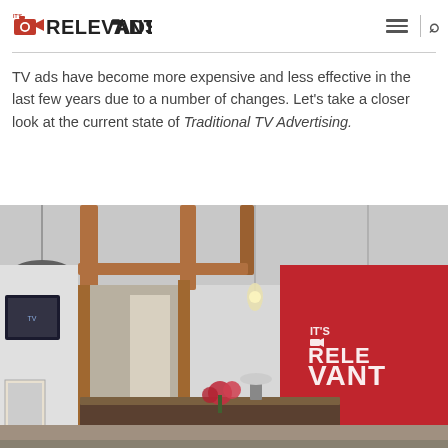ITS RELEVANT OADs (logo) + hamburger menu + search icon
TV ads have become more expensive and less effective in the last few years due to a number of changes. Let's take a closer look at the current state of Traditional TV Advertising.
[Figure (photo): Interior office photo showing a modern workspace with exposed wooden beams, pendant lights, a red accent wall with 'IT'S RELEVANT' text/logo in white, flowers on a desk, and various office elements.]